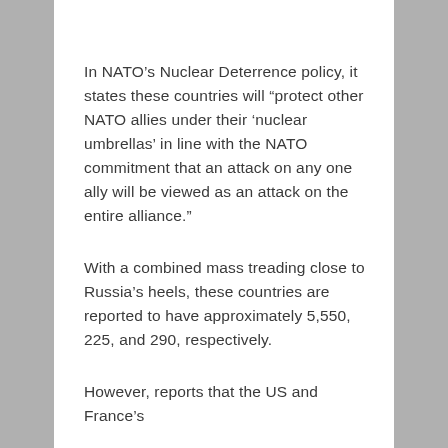In NATO’s Nuclear Deterrence policy, it states these countries will “protect other NATO allies under their ‘nuclear umbrellas’ in line with the NATO commitment that an attack on any one ally will be viewed as an attack on the entire alliance.”
With a combined mass treading close to Russia’s heels, these countries are reported to have approximately 5,550, 225, and 290, respectively.
However, reports that the US and France’s...